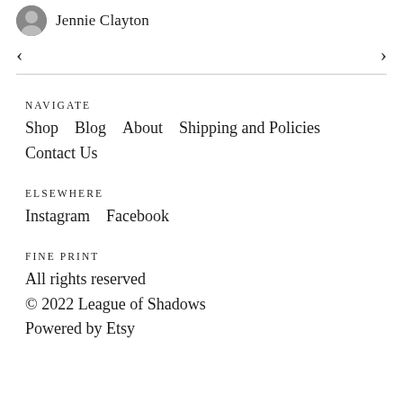Jennie Clayton
NAVIGATE
Shop   Blog   About   Shipping and Policies   Contact Us
ELSEWHERE
Instagram   Facebook
FINE PRINT
All rights reserved
© 2022 League of Shadows
Powered by Etsy